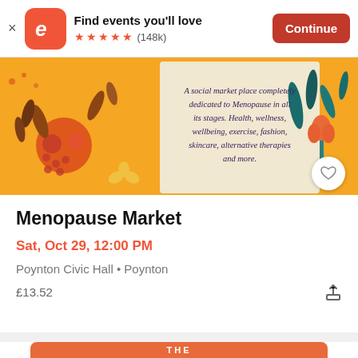Find events you'll love ★★★★★ (148k) Continue
[Figure (illustration): Menopause Market event banner with floral illustration on golden/yellow background and text: 'A social market place completely dedicated to Menopause in all its stages. Health, wellness, wellbeing, exercise, fashion, skincare, alternative therapies and more.']
Menopause Market
Sat, Oct 29, 12:00 PM
Poynton Civic Hall • Poynton
£13.52
[Figure (illustration): Bottom orange card partially visible showing 'THE HANDCRAFTED' text in white on orange background]